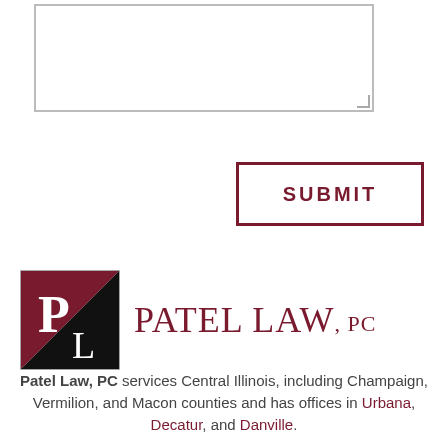[Figure (other): Text area input box with resize handle]
[Figure (other): Submit button with dark red border and SUBMIT label]
[Figure (logo): Patel Law PC logo with square PL icon and serif text PATEL LAW, PC in dark red]
Patel Law, PC services Central Illinois, including Champaign, Vermilion, and Macon counties and has offices in Urbana, Decatur, and Danville.